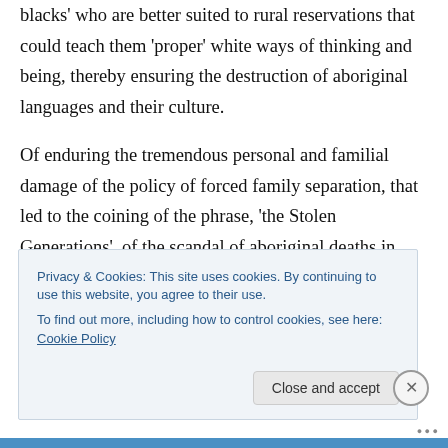blacks' who are better suited to rural reservations that could teach them 'proper' white ways of thinking and being, thereby ensuring the destruction of aboriginal languages and their culture.
Of enduring the tremendous personal and familial damage of the policy of forced family separation, that led to the coining of the phrase, 'the Stolen Generations', of the scandal of aboriginal deaths in custody, most noticeably
Privacy & Cookies: This site uses cookies. By continuing to use this website, you agree to their use.
To find out more, including how to control cookies, see here: Cookie Policy